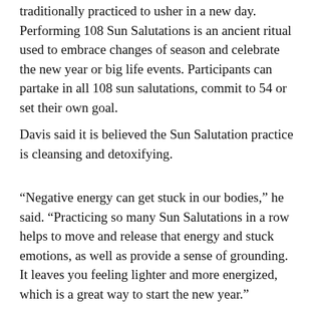traditionally practiced to usher in a new day. Performing 108 Sun Salutations is an ancient ritual used to embrace changes of season and celebrate the new year or big life events. Participants can partake in all 108 sun salutations, commit to 54 or set their own goal.
Davis said it is believed the Sun Salutation practice is cleansing and detoxifying.
“Negative energy can get stuck in our bodies,” he said. “Practicing so many Sun Salutations in a row helps to move and release that energy and stuck emotions, as well as provide a sense of grounding. It leaves you feeling lighter and more energized, which is a great way to start the new year.”